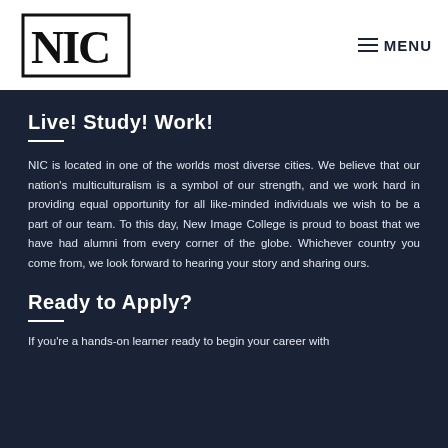NIC logo | MENU
[Figure (logo): NIC logo in black serif font on white background]
Live! Study! Work!
NIC is located in one of the worlds most diverse cities. We believe that our nation's multiculturalism is a symbol of our strength, and we work hard in providing equal opportunity for all like-minded individuals we wish to be a part of our team. To this day, New Image College is proud to boast that we have had alumni from every corner of the globe. Whichever country you come from, we look forward to hearing your story and sharing ours.
Ready to Apply?
If you're a hands-on learner ready to begin your career with